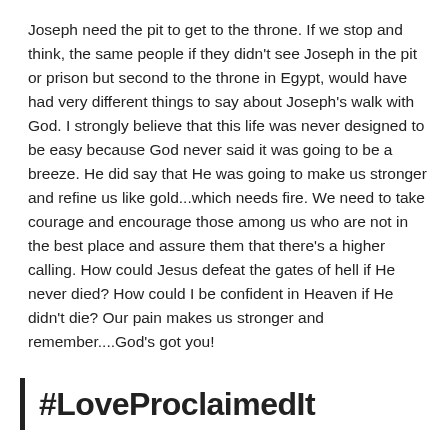Joseph need the pit to get to the throne. If we stop and think, the same people if they didn't see Joseph in the pit or prison but second to the throne in Egypt, would have had very different things to say about Joseph's walk with God. I strongly believe that this life was never designed to be easy because God never said it was going to be a breeze. He did say that He was going to make us stronger and refine us like gold...which needs fire. We need to take courage and encourage those among us who are not in the best place and assure them that there's a higher calling. How could Jesus defeat the gates of hell if He never died? How could I be confident in Heaven if He didn't die? Our pain makes us stronger and remember....God's got you!
#LoveProclaimedIt